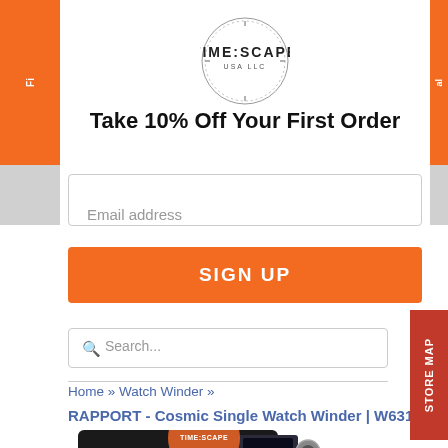[Figure (logo): Timescape USA LLC circular logo with clock face border]
Take 10% Off Your First Order
Email address
SIGN UP
Search...
Home » Watch Winder » RAPPORT - Cosmic Single Watch Winder | W631
[Figure (photo): RAPPORT Cosmic Single Watch Winder W631 product photo, black device with digital display and chrome knob, Timescape logo overlay]